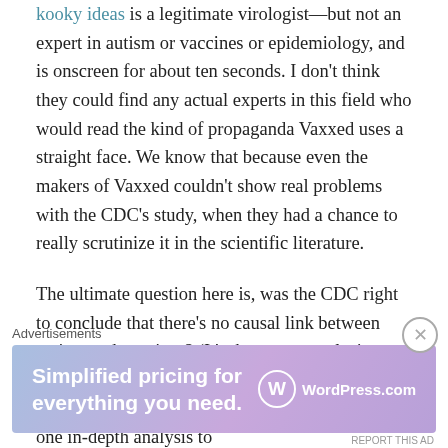kooky ideas is a legitimate virologist—but not an expert in autism or vaccines or epidemiology, and is onscreen for about ten seconds. I don't think they could find any actual experts in this field who would read the kind of propaganda Vaxxed uses a straight face. We know that because even the makers of Vaxxed couldn't show real problems with the CDC's study, when they had a chance to really scrutinize it in the scientific literature.
The ultimate question here is, was the CDC right to conclude that there's no causal link between autism and vaccines? (It's the same conclusion scientists everywhere reach when they study this question, too–not just the CDC.) Vaxxed relies on one in-depth analysis to
[Figure (screenshot): WordPress.com advertisement banner with text 'Simplified pricing for everything you need.' and WordPress.com logo on a purple/blue gradient background. A close button (X in circle) appears in the upper right of the ad area.]